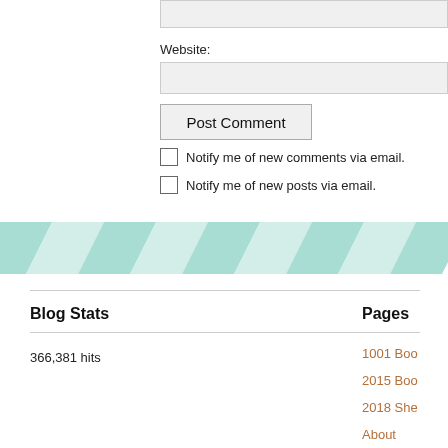Website:
Post Comment
Notify me of new comments via email.
Notify me of new posts via email.
[Figure (illustration): Teal and white chevron/zigzag pattern banner]
Blog Stats
Pages
366,381 hits
1001 Boo...
2015 Boo...
2018 She...
About
Book Ma...
Book Pa...